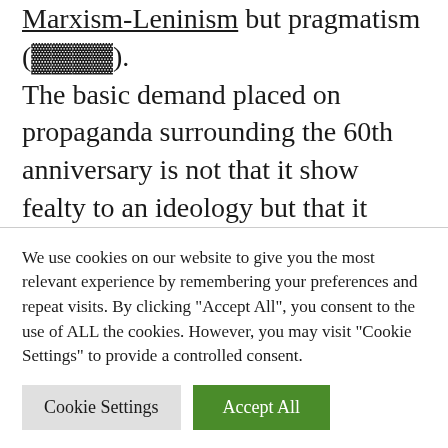Marxism-Leninism but pragmatism (□□□□). The basic demand placed on propaganda surrounding the 60th anniversary is not that it show fealty to an ideology but that it benefit the CCP's position and promote national unity. Concerning 1949 and its place in China's history, they must walk a tightrope. On the one hand, they cannot stray from the narrative of CCP victory in the war for China's liberation
We use cookies on our website to give you the most relevant experience by remembering your preferences and repeat visits. By clicking "Accept All", you consent to the use of ALL the cookies. However, you may visit "Cookie Settings" to provide a controlled consent.